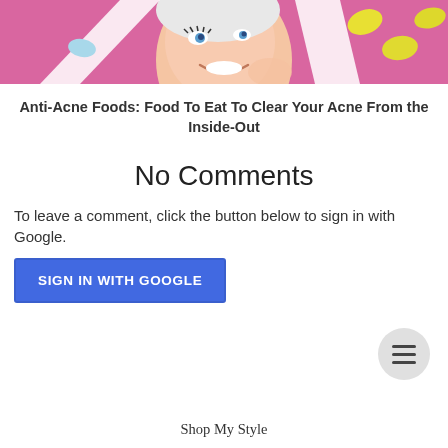[Figure (photo): Smiling woman with a face mask/treatment on her head against a pink background with yellow oval shapes and white geometric shapes]
Anti-Acne Foods: Food To Eat To Clear Your Acne From the Inside-Out
No Comments
To leave a comment, click the button below to sign in with Google.
SIGN IN WITH GOOGLE
Shop My Style